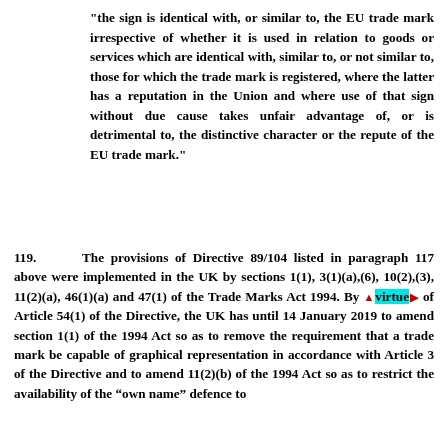“the sign is identical with, or similar to, the EU trade mark irrespective of whether it is used in relation to goods or services which are identical with, similar to, or not similar to, those for which the trade mark is registered, where the latter has a reputation in the Union and where use of that sign without due cause takes unfair advantage of, or is detrimental to, the distinctive character or the repute of the EU trade mark.”
119. The provisions of Directive 89/104 listed in paragraph 117 above were implemented in the UK by sections 1(1), 3(1)(a),(6), 10(2),(3), 11(2)(a), 46(1)(a) and 47(1) of the Trade Marks Act 1994. By virtue of Article 54(1) of the Directive, the UK has until 14 January 2019 to amend section 1(1) of the 1994 Act so as to remove the requirement that a trade mark be capable of graphical representation in accordance with Article 3 of the Directive and to amend 11(2)(b) of the 1994 Act so as to restrict the availability of the “own name” defence to